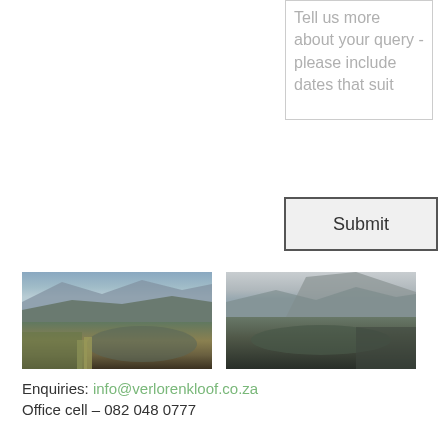[Figure (screenshot): Text area input box with placeholder text: 'Tell us more about your query - please include dates that suit']
[Figure (screenshot): Submit button with dark border and light gray background]
[Figure (photo): Landscape photo showing a mountain lake with reeds and cloudy sky]
[Figure (photo): Landscape photo showing a mountain with mist reflected in a lake]
Enquiries: info@verlorenkloof.co.za
Office cell – 082 048 0777